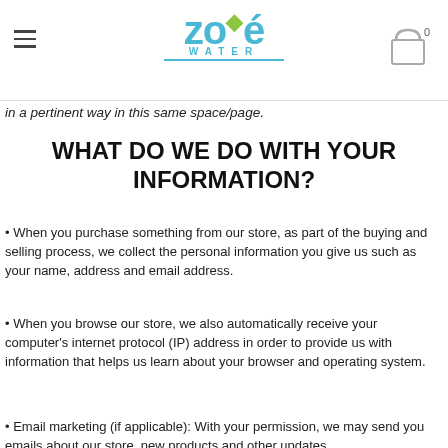Zoé Water — site header with hamburger menu and cart
in a pertinent way in this same space/page.
WHAT DO WE DO WITH YOUR INFORMATION?
When you purchase something from our store, as part of the buying and selling process, we collect the personal information you give us such as your name, address and email address.
When you browse our store, we also automatically receive your computer's internet protocol (IP) address in order to provide us with information that helps us learn about your browser and operating system.
Email marketing (if applicable): With your permission, we may send you emails about our store, new products and other updates.